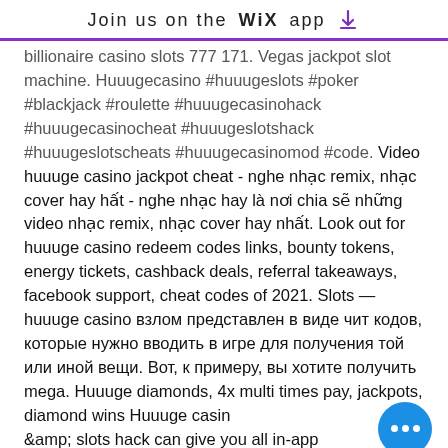Join us on the WiX app ↓
billionaire casino slots 777 171. Vegas jackpot slot machine. Huuugecasino #huuugeslots #poker #blackjack #roulette #huuugecasinohack #huuugecasinocheat #huuugeslotshack #huuugeslotscheats #huuugecasinomod #code. Video huuuge casino jackpot cheat - nghe nhạc remix, nhạc cover hay hất - nghe nhạc hay là nơi chia sẽ những video nhạc remix, nhạc cover hay nhất. Look out for huuuge casino redeem codes links, bounty tokens, energy tickets, cashback deals, referral takeaways, facebook support, cheat codes of 2021. Slots — huuuge casino взлом представлен в виде чит кодов, которые нужно вводить в игре для получения той или иной вещи. Вот, к примеру, вы хотите получить mega. Huuuge diamonds, 4x multi times pay, jackpots, diamond wins Huuuge casino & slots hack can give you all in-app